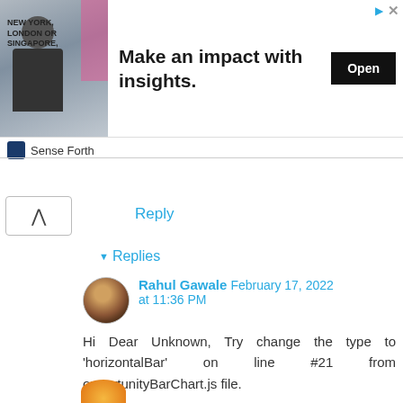[Figure (screenshot): Advertisement banner: image of a man in suit on left, text 'NEW YORK, LONDON OR SINGAPORE.' with tagline 'Make an impact with insights.' and an Open button. Sponsored by Sense Forth.]
Reply
▾ Replies
Rahul Gawale   February 17, 2022 at 11:36 PM
Hi Dear Unknown, Try change the type to 'horizontalBar' on line #21 from opportunityBarChart.js file.
Reply